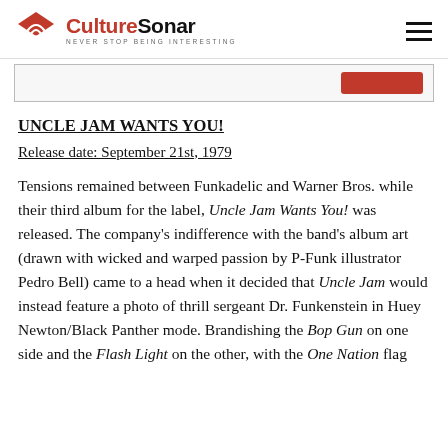CultureSonar — NEVER STOP BEING INTERESTING
[Figure (other): Partial advertisement banner with a red button on the right side]
UNCLE JAM WANTS YOU!
Release date: September 21st, 1979
Tensions remained between Funkadelic and Warner Bros. while their third album for the label, Uncle Jam Wants You! was released. The company's indifference with the band's album art (drawn with wicked and warped passion by P-Funk illustrator Pedro Bell) came to a head when it decided that Uncle Jam would instead feature a photo of thrill sergeant Dr. Funkenstein in Huey Newton/Black Panther mode. Brandishing the Bop Gun on one side and the Flash Light on the other, with the One Nation flag